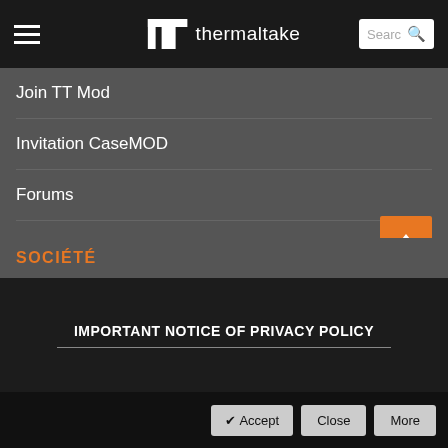Thermaltake navigation header with hamburger menu, logo, and search bar
Join TT Mod
Invitation CaseMOD
Forums
Communiqués de presse
Outils marketing
3D Maker
SOCIÉTÉ
IMPORTANT NOTICE OF PRIVACY POLICY
✔ Accept | Close | More